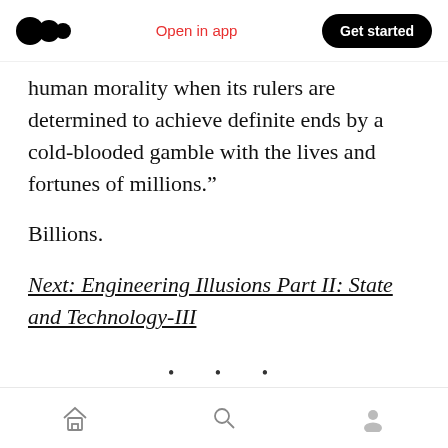Open in app | Get started
human morality when its rulers are determined to achieve definite ends by a cold-blooded gamble with the lives and fortunes of millions."
Billions.
Next: Engineering Illusions Part II: State and Technology-III
· · ·
Follow along on Twitter @ap_prose and Medium at Tech Insider for the next installment of
Home | Search | Profile